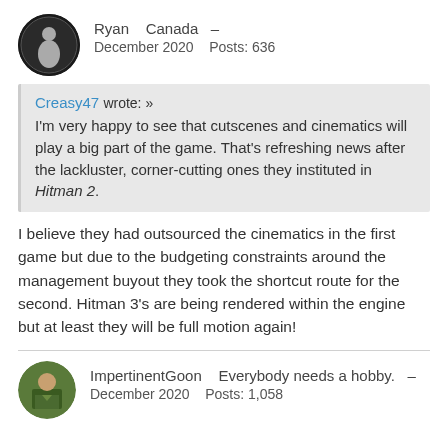[Figure (photo): Circular avatar of Ryan showing a silhouette figure on dark background]
Ryan   Canada  –
December 2020   Posts: 636
Creasy47 wrote: »
I'm very happy to see that cutscenes and cinematics will play a big part of the game. That's refreshing news after the lackluster, corner-cutting ones they instituted in Hitman 2.
I believe they had outsourced the cinematics in the first game but due to the budgeting constraints around the management buyout they took the shortcut route for the second. Hitman 3's are being rendered within the engine but at least they will be full motion again!
[Figure (photo): Circular avatar of ImpertinentGoon showing a man in a suit outdoors]
ImpertinentGoon   Everybody needs a hobby.  –
December 2020   Posts: 1,058